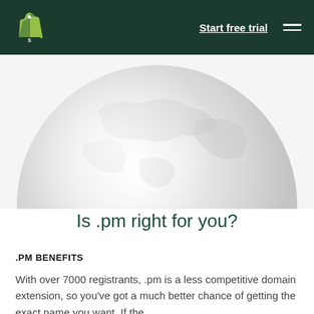Start free trial
[Figure (illustration): Partial globe/world image in light gray tones, cropped at top and sides, showing the lower half of a globe sphere against a white background.]
Is .pm right for you?
.PM BENEFITS
With over 7000 registrants, .pm is a less competitive domain extension, so you've got a much better chance of getting the exact name you want. If the